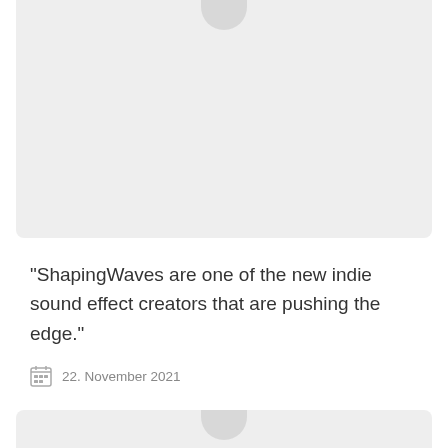[Figure (photo): Top card area with light grey background and partial avatar shape at top, cropped from above]
“ShapingWaves are one of the new indie sound effect creators that are pushing the edge.”
22. November 2021
[Figure (photo): Bottom card area with light grey background and partial avatar shape, cropped from below]